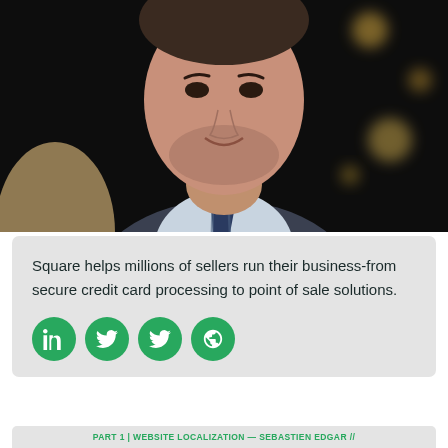[Figure (photo): Portrait photo of a man in a dark suit with a navy striped tie and light blue shirt, photographed against a dark background with bokeh lights]
Square helps millions of sellers run their business-from secure credit card processing to point of sale solutions.
[Figure (infographic): Four green circular social media icons: LinkedIn, Twitter, Twitter (duplicate), and a globe/website icon]
PART 1 | WEBSITE LOCALIZATION — SEBASTIEN EDGAR //